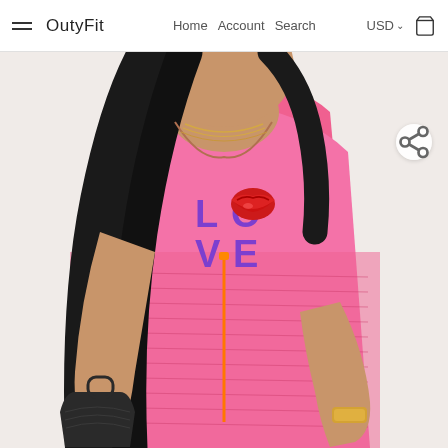OutyFit — Home Account Search — USD — Cart
[Figure (photo): Woman wearing a pink velvet LOVE-print jumpsuit with orange zipper detail, holding a dark handbag, with gold jewelry.]